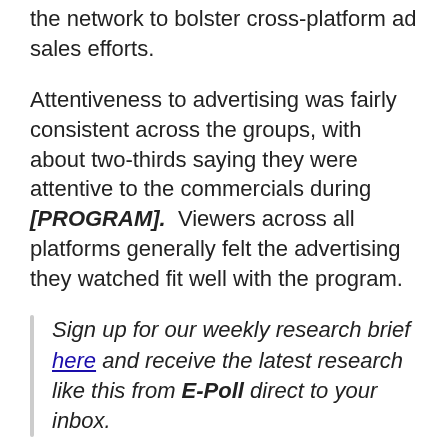the network to bolster cross-platform ad sales efforts.
Attentiveness to advertising was fairly consistent across the groups, with about two-thirds saying they were attentive to the commercials during [PROGRAM].  Viewers across all platforms generally felt the advertising they watched fit well with the program.
Sign up for our weekly research brief here and receive the latest research like this from E-Poll direct to your inbox.
Although advertising was effective across all